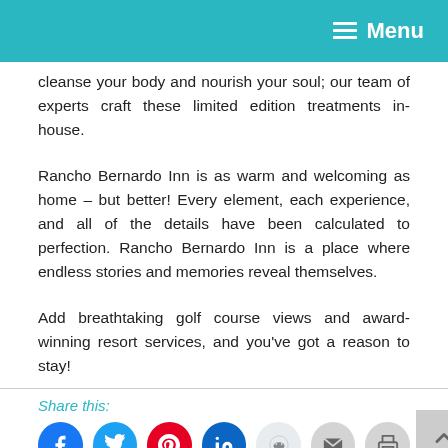Menu
cleanse your body and nourish your soul; our team of experts craft these limited edition treatments in-house.
Rancho Bernardo Inn is as warm and welcoming as home – but better! Every element, each experience, and all of the details have been calculated to perfection. Rancho Bernardo Inn is a place where endless stories and memories reveal themselves.
Add breathtaking golf course views and award-winning resort services, and you've got a reason to stay!
Share this:
[Figure (infographic): Social sharing icons: Facebook, Twitter, Pinterest, LinkedIn, Reddit, Email, Print]